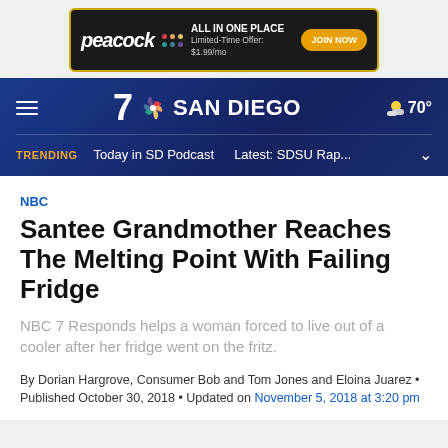[Figure (other): Peacock streaming service advertisement banner: black background with gold border, Peacock logo in white italic, colored dots, text 'ALL IN ONE PLACE Limited-Time Offer: $1.99/mo', and a gold 'JOIN NOW' button.]
NBC 7 SAN DIEGO — 70°
TRENDING   Today in SD Podcast   Latest: SDSU Rap...
NBC
Santee Grandmother Reaches The Melting Point With Failing Fridge
NBC 7 Responds helps a woman forced to live out of a cooler after her fridge went on the fritz.
By Dorian Hargrove, Consumer Bob and Tom Jones and Eloina Juarez • Published October 30, 2018 • Updated on November 5, 2018 at 3:20 pm